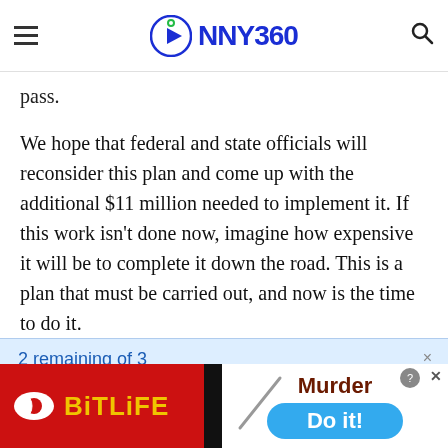NNY360
pass.
We hope that federal and state officials will reconsider this plan and come up with the additional $11 million needed to implement it. If this work isn't done now, imagine how expensive it will be to complete it down the road. This is a plan that must be carried out, and now is the time to do it.
As an Amazon Associate I earn from qualifying purchases.
2 remaining of 3
Welcome! We hope that you enjoy our complimentary NNY360 content.
[Figure (advertisement): BitLife mobile game advertisement with red background, yellow logo text, and a Murder/Do it! prompt on white background with blue button]